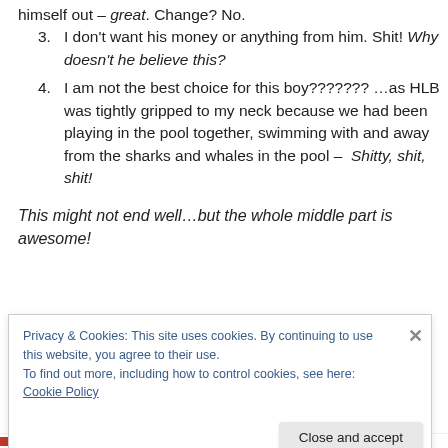himself out – great. Change? No.
3. I don’t want his money or anything from him. Shit! Why doesn’t he believe this?
4. I am not the best choice for this boy??????? …as HLB was tightly gripped to my neck because we had been playing in the pool together, swimming with and away from the sharks and whales in the pool – Shitty, shit, shit!
This might not end well…but the whole middle part is awesome!
Privacy & Cookies: This site uses cookies. By continuing to use this website, you agree to their use. To find out more, including how to control cookies, see here: Cookie Policy